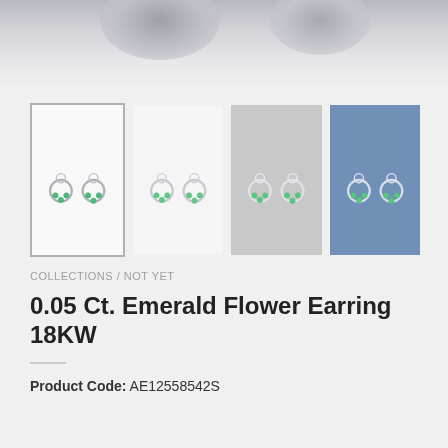[Figure (photo): Top blurred background area with soft gray and silver tones]
[Figure (photo): Four thumbnail images of emerald flower earrings in silver/white gold. First thumbnail has gray border (selected). Shows stud earrings with green emerald flower design and hoop elements. Images progress from white background, to gray background, to blue background.]
COLLECTIONS / NOT YET
0.05 Ct. Emerald Flower Earring 18KW
Product Code: AE12558542S